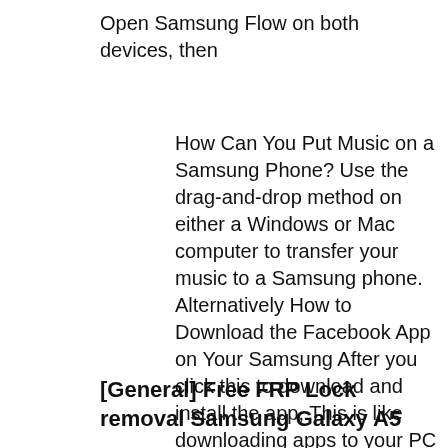Open Samsung Flow on both devices, then
How Can You Put Music on a Samsung Phone? Use the drag-and-drop method on either a Windows or Mac computer to transfer your music to a Samsung phone. Alternatively How to Download the Facebook App on Your Samsung After you click this to download and install the app, This is like downloading apps to your PC over the
[General] Free FRP Lock removal Samsung Galaxy A5